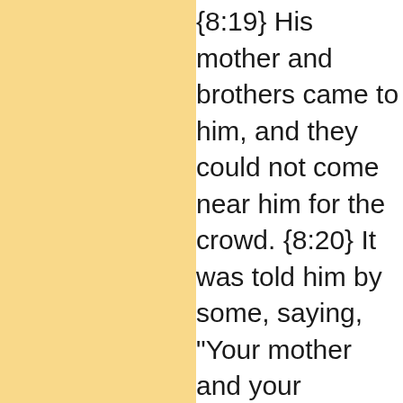{8:19} His mother and brothers came to him, and they could not come near him for the crowd. {8:20} It was told him by some, saying, "Your mother and your brothers stand outside, desiring to see you."
{8:21} But he answered them, "My mother and my brothers are these who hear the word of God, and do it."
{8:22} Now it happened on one of those days, that he entered into a boat, himself and his disciples, and he said to them, "Let's go over to the other side of the lake." So they launched out. {8:23} But as they sailed, he fell asleep. A wind storm came down on the lake, and they were taking on dangerous amounts of water. {8:24} They came to him and awoke him, saying, "Master, master, we are dying!" He awo...